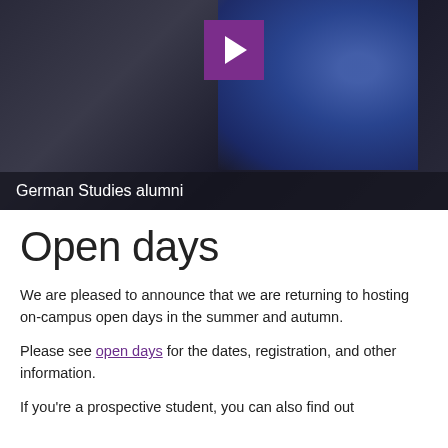[Figure (screenshot): Video thumbnail showing a young man in a blue blazer against a dark background, with a purple play button overlay in the upper center area. Caption reads 'German Studies alumni'.]
Open days
We are pleased to announce that we are returning to hosting on-campus open days in the summer and autumn.
Please see open days for the dates, registration, and other information.
If you're a prospective student, you can also find out